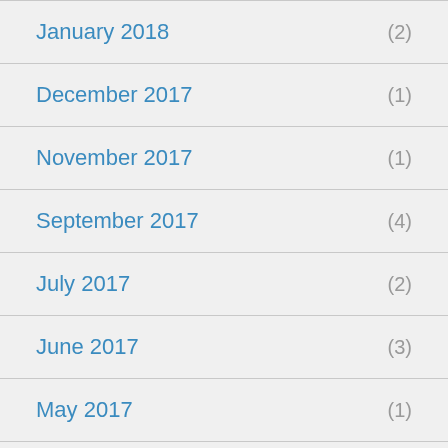January 2018 (2)
December 2017 (1)
November 2017 (1)
September 2017 (4)
July 2017 (2)
June 2017 (3)
May 2017 (1)
April 2017 (2)
March 2017 (3)
February 2017 (1)